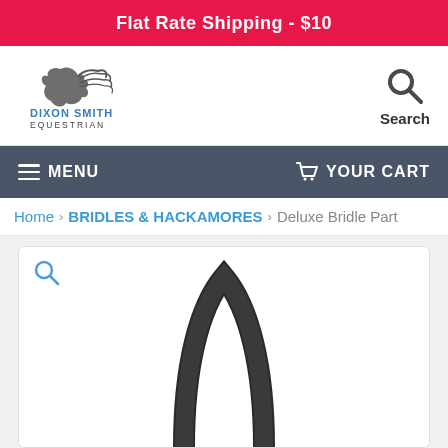Flat Rate Shipping - $10
[Figure (logo): Dixon Smith Equestrian logo with stylized horse head and flowing mane]
[Figure (other): Search icon (magnifying glass) with label 'Search']
≡ MENU
🛒 YOUR CART
Home > BRIDLES & HACKAMORES > Deluxe Bridle Part
[Figure (photo): Product image showing a dark leather bridle part (arch/loop shape) on white background with magnify icon overlay]